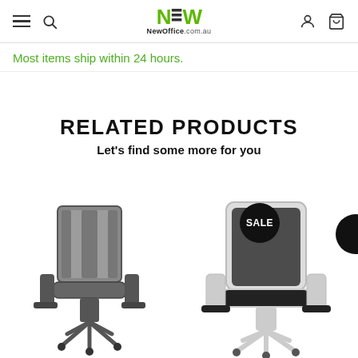NewOffice.com.au — navigation header with menu, search, logo, account, cart icons
Most items ship within 24 hours.
RELATED PRODUCTS
Let's find some more for you
[Figure (photo): Two office mesh chairs shown side by side. Left chair: dark grey mesh back chair, front view, no sale badge. Right chair: black and white framed mesh office chair with a 'SALE' badge in a black circle, partially cropped on right edge.]